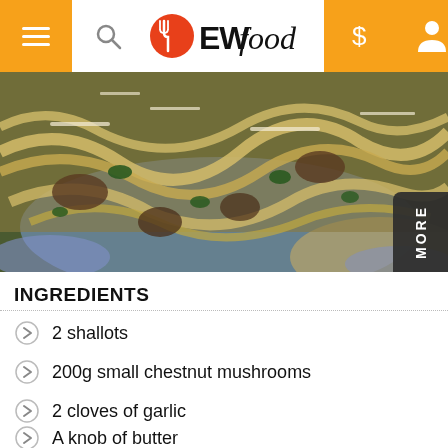EWfood
[Figure (photo): A plate of creamy fettuccine pasta with chestnut mushrooms, spinach, and grated parmesan cheese on a blue decorative plate]
INGREDIENTS
2 shallots
200g small chestnut mushrooms
2 cloves of garlic
A knob of butter
1 tablespoon of olive oil